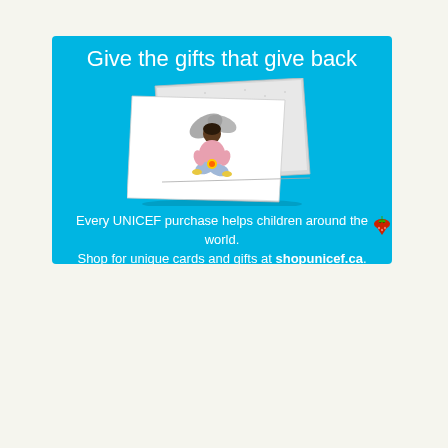[Figure (infographic): UNICEF advertisement with cyan/blue background. Title: 'Give the gifts that give back'. Center shows an illustration of a greeting card featuring a child with a butterfly sitting cross-legged. Bottom text reads: 'Every UNICEF purchase helps children around the world. Shop for unique cards and gifts at shopunicef.ca.' A small strawberry icon appears to the right of the ad box.]